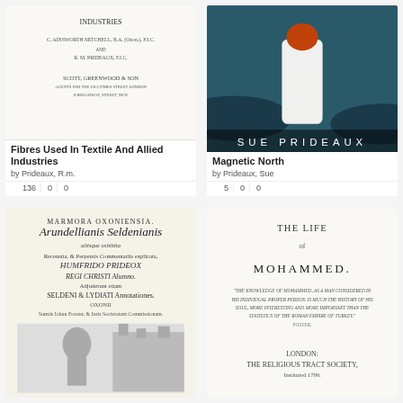[Figure (illustration): Book cover for 'Fibres Used In Textile And Allied Industries' - old title page style with publisher Scott, Greenwood & Son]
Fibres Used In Textile And Allied Industries
by Prideaux, R.m.
136 views, 0 stars, 0 comments
[Figure (photo): Book cover for 'Magnetic North' by Sue Prideaux - shows a figure in white dress from behind with 'SUE PRIDEAUX' text at bottom]
Magnetic North
by Prideaux, Sue
5 views, 0 stars, 0 comments
[Figure (illustration): Book cover for Marmora Oxoniensia - Arundellianis Seldenianis, old engraved title page with figure]
[Figure (illustration): Book cover for 'The Life of Mohammed' - old title page, published by The Religious Tract Society]